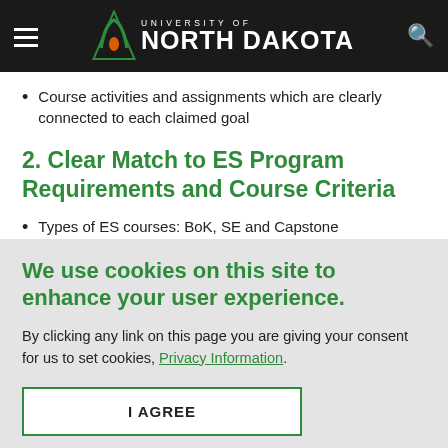University of North Dakota
Course activities and assignments which are clearly connected to each claimed goal
2. Clear Match to ES Program Requirements and Course Criteria
Types of ES courses: BoK, SE and Capstone
We use cookies on this site to enhance your user experience.
By clicking any link on this page you are giving your consent for us to set cookies, Privacy Information.
I AGREE